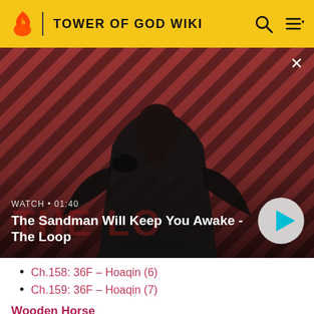TOWER OF GOD WIKI
[Figure (screenshot): Video banner showing a dark-robed figure with a crow on their shoulder against a red diagonal-striped background. Text overlay: WATCH • 01:40 / The Sandman Will Keep You Awake - The Loop. Play button on right.]
Ch.158: 36F – Hoaqin (6)
Ch.159: 36F – Hoaqin (7)
Wooden Horse
Ch.160: 37F – Wooden Horse (1)
Ch.161: 37F – Wooden Horse (2)